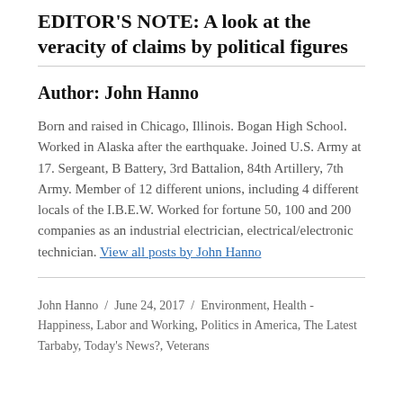EDITOR'S NOTE: A look at the veracity of claims by political figures
Author: John Hanno
Born and raised in Chicago, Illinois. Bogan High School. Worked in Alaska after the earthquake. Joined U.S. Army at 17. Sergeant, B Battery, 3rd Battalion, 84th Artillery, 7th Army. Member of 12 different unions, including 4 different locals of the I.B.E.W. Worked for fortune 50, 100 and 200 companies as an industrial electrician, electrical/electronic technician. View all posts by John Hanno
John Hanno / June 24, 2017 / Environment, Health - Happiness, Labor and Working, Politics in America, The Latest Tarbaby, Today's News?, Veterans